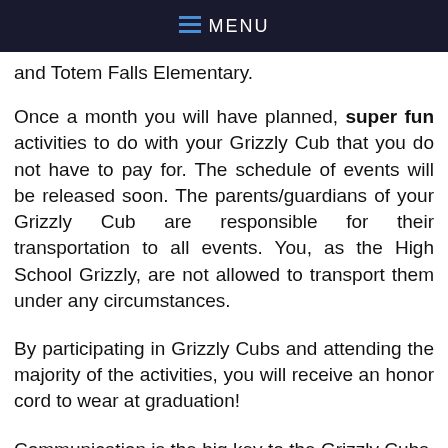MENU
and Totem Falls Elementary.
Once a month you will have planned, super fun activities to do with your Grizzly Cub that you do not have to pay for. The schedule of events will be released soon. The parents/guardians of your Grizzly Cub are responsible for their transportation to all events. You, as the High School Grizzly, are not allowed to transport them under any circumstances.
By participating in Grizzly Cubs and attending the majority of the activities, you will receive an honor cord to wear at graduation!
Communication is the big key to the Grizzly Cubs. Text or call your Grizzly Cub and ask them how they are doing, maybe help them with their homework, invite them to one of your sports games or performances, attend one of their